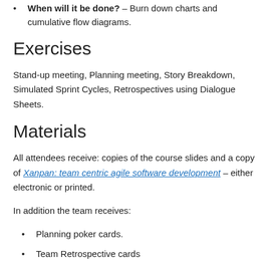When will it be done? – Burn down charts and cumulative flow diagrams.
Exercises
Stand-up meeting, Planning meeting, Story Breakdown, Simulated Sprint Cycles, Retrospectives using Dialogue Sheets.
Materials
All attendees receive: copies of the course slides and a copy of Xanpan: team centric agile software development – either electronic or printed.
In addition the team receives:
Planning poker cards.
Team Retrospective cards
Completed Agile Thinking dialogue sheets listing the teams